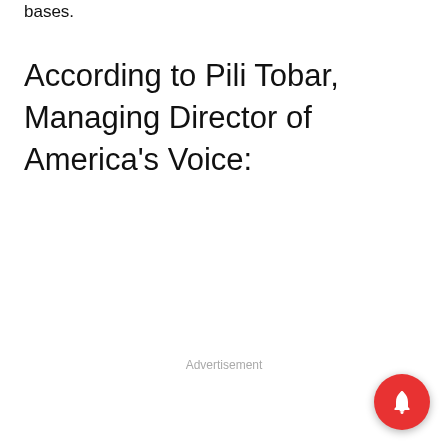bases.
According to Pili Tobar, Managing Director of America's Voice:
Advertisement